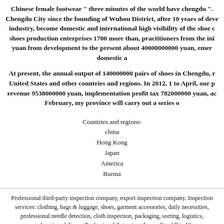Chinese female footwear " three minutes of the world have chengdu ". Chengdu City since the founding of Wuhou District, after 10 years of development industry, become domestic and international high visibility of the shoe capital, shoes production enterprises 1700 more than, practitioners from the initial yuan from development to the present about 40000000000 yuan, emerg... domestic a...
At present, the annual output of 140000000 pairs of shoes in Chengdu, r... United States and other countries and regions. In 2012, 1 to April, our pr... revenue 9538000000 yuan, implementation profit tax 782000000 yuan, ach... February, my province will carry out a series o...
Countries and regions:
china
Hong Kong
Japan
America
Burma
Professional third-party inspection company, export inspection company. Inspection services: clothing, bags & luggage, shoes, garment accessories, daily necessities, professional needle detection, cloth inspection, packaging, sorting, logistics, warehousing, delivery. Professional & trustworthy quality, All in Y's.